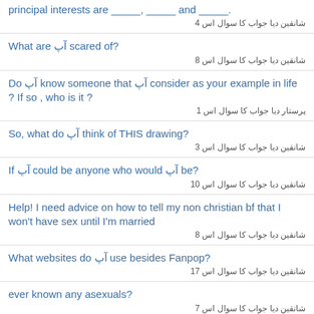principal interests are _____, _____ and _____.
شانقین دیا جواب کا سوال اس 4
What are آپ scared of?
شانقین دیا جواب کا سوال اس 8
Do آپ know someone that آپ consider as your example in life ? If so , who is it ?
پرستار دیا جواب کا سوال اس 1
So, what do آپ think of THIS drawing?
شانقین دیا جواب کا سوال اس 3
If آپ could be anyone who would آپ be?
شانقین دیا جواب کا سوال اس 10
Help! I need advice on how to tell my non christian bf that I won't have sex until I'm married
شانقین دیا جواب کا سوال اس 8
What websites do آپ use besides Fanpop?
شانقین دیا جواب کا سوال اس 17
ever known any asexuals?
شانقین دیا جواب کا سوال اس 7
oh great, after along time here on fanpop, again. *sigh* too caught up on wattpad. anyways HI GUYS
پرستار دیا جواب کا سوال اس 1